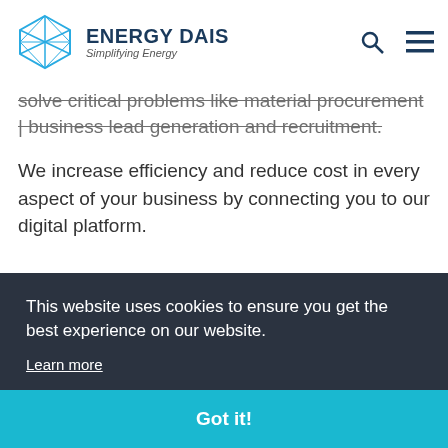ENERGY DAIS Simplifying Energy
solve critical problems like material procurement | business lead generation and recruitment.
We increase efficiency and reduce cost in every aspect of your business by connecting you to our digital platform.
This website uses cookies to ensure you get the best experience on our website.
Learn more
Got it!